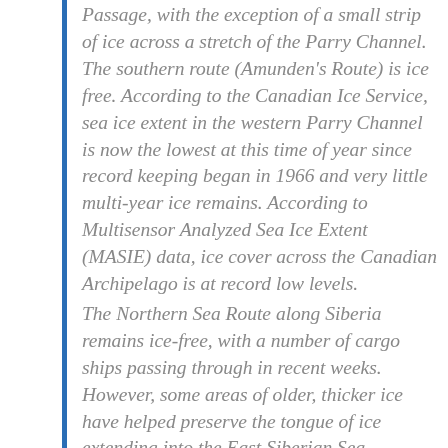Passage, with the exception of a small strip of ice across a stretch of the Parry Channel. The southern route (Amunden's Route) is ice free. According to the Canadian Ice Service, sea ice extent in the western Parry Channel is now the lowest at this time of year since record keeping began in 1966 and very little multi-year ice remains. According to Multisensor Analyzed Sea Ice Extent (MASIE) data, ice cover across the Canadian Archipelago is at record low levels. The Northern Sea Route along Siberia remains ice-free, with a number of cargo ships passing through in recent weeks. However, some areas of older, thicker ice have helped preserve the tongue of ice extending into the East Siberian Sea.